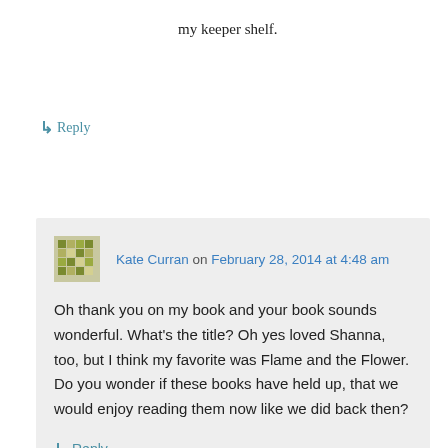my keeper shelf.
↳ Reply
Kate Curran on February 28, 2014 at 4:48 am
Oh thank you on my book and your book sounds wonderful. What's the title? Oh yes loved Shanna, too, but I think my favorite was Flame and the Flower. Do you wonder if these books have held up, that we would enjoy reading them now like we did back then?
↳ Reply